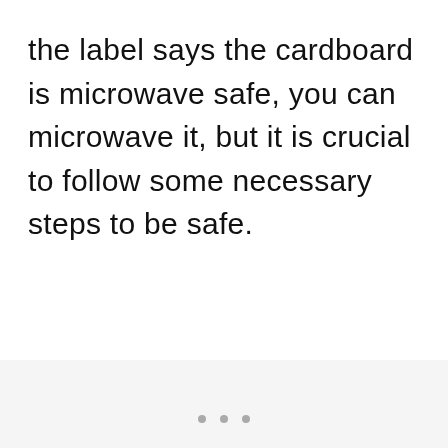the label says the cardboard is microwave safe, you can microwave it, but it is crucial to follow some necessary steps to be safe.